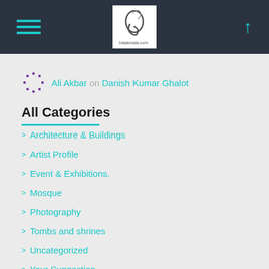Navigation header with hamburger menu, site logo, and up arrow
Ali Akbar on Danish Kumar Ghalot
All Categories
Architecture & Buildings
Artist Profile
Event & Exhibitions.
Mosque
Photography
Tombs and shrines
Uncategorized
Your Suggestion
Meta